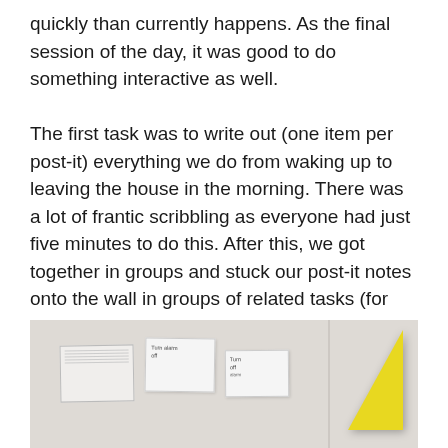quickly than currently happens. As the final session of the day, it was good to do something interactive as well.
The first task was to write out (one item per post-it) everything we do from waking up to leaving the house in the morning. There was a lot of frantic scribbling as everyone had just five minutes to do this. After this, we got together in groups and stuck our post-it notes onto the wall in groups of related tasks (for example most of us turned the alarm off first).
[Figure (photo): A photograph of a wall with post-it notes stuck on it, showing various small notes arranged in groups. A yellow triangular post-it note is prominent on the right side.]